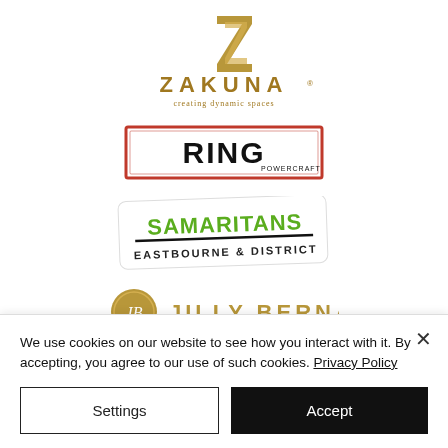[Figure (logo): Zakuna logo — stylized gold Z lettermark above ZAKUNA text with tagline 'creating dynamic spaces']
[Figure (logo): Ring Powercraft logo — bold black RING text with red border rectangle and POWERCRAFT subtitle]
[Figure (logo): Samaritans Eastbourne & District logo — green SAMARITANS text on white rounded card with black underline and EASTBOURNE & DISTRICT subtitle]
[Figure (logo): Jilly Bernard logo — gold circular JB monogram badge with JILLY BERNARD text in gold]
We use cookies on our website to see how you interact with it. By accepting, you agree to our use of such cookies. Privacy Policy